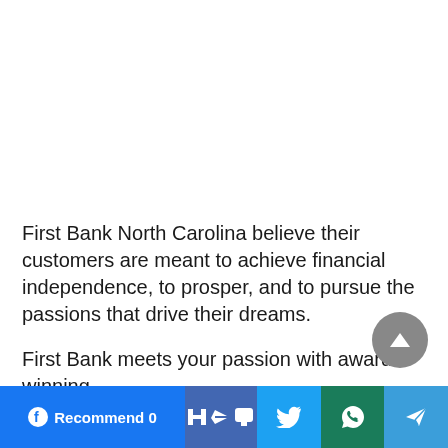First Bank North Carolina believe their customers are meant to achieve financial independence, to prosper, and to pursue the passions that drive their dreams.
First Bank meets your passion with award-winning
[Figure (screenshot): Social media sharing bar at the bottom of a webpage with Facebook Recommend button (count 0), Facebook share, Twitter, WhatsApp, and Telegram buttons. A grey circular scroll-to-top arrow button appears above the bar on the right side.]